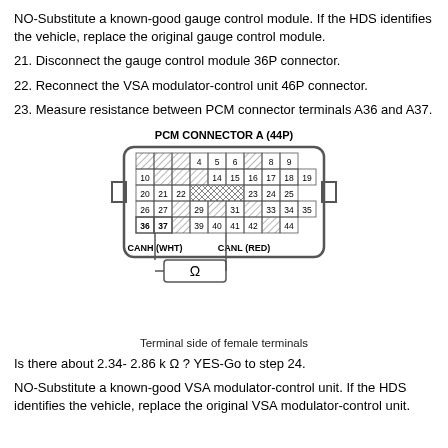NO-Substitute a known-good gauge control module. If the HDS identifies the vehicle, replace the original gauge control module.
21. Disconnect the gauge control module 36P connector.
22. Reconnect the VSA modulator-control unit 46P connector.
23. Measure resistance between PCM connector terminals A36 and A37.
[Figure (engineering-diagram): PCM CONNECTOR A (44P) diagram showing terminal layout with hatched areas indicating CANH (WHT) terminals 36 and 37, and CANL (RED) terminals 39, 40, 41, 42. An ohmmeter symbol (Ω) is shown connected at the bottom. Caption: Terminal side of female terminals.]
Terminal side of female terminals
Is there about 2.34- 2.86 k Ω ? YES-Go to step 24.
NO-Substitute a known-good VSA modulator-control unit. If the HDS identifies the vehicle, replace the original VSA modulator-control unit.